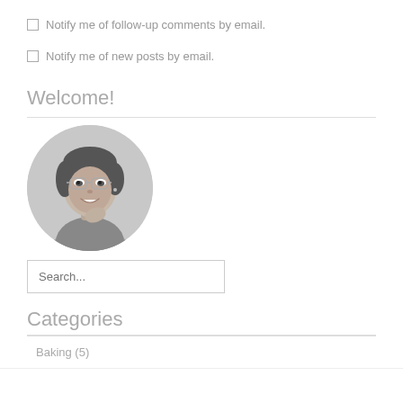Notify me of follow-up comments by email.
Notify me of new posts by email.
Welcome!
[Figure (photo): Circular black and white portrait photo of a young woman with glasses, smiling, touching her chin with her hand.]
Search...
Categories
Baking (5)